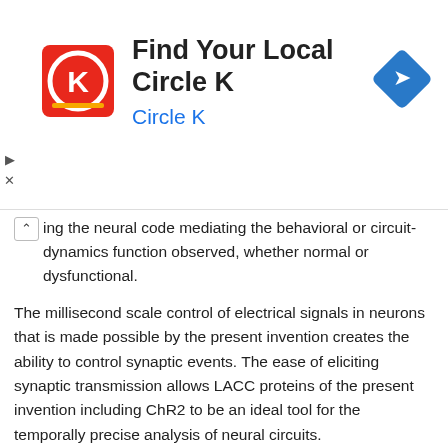[Figure (other): Advertisement banner for Circle K with logo, text 'Find Your Local Circle K', subtitle 'Circle K', and a blue navigation arrow icon on the right]
ing the neural code mediating the behavioral or circuit-dynamics function observed, whether normal or dysfunctional.
The millisecond scale control of electrical signals in neurons that is made possible by the present invention creates the ability to control synaptic events. The ease of eliciting synaptic transmission allows LACC proteins of the present invention including ChR2 to be an ideal tool for the temporally precise analysis of neural circuits.
Another aspect of the present invention is the use of light to create a synaptic event. A LACC protein of the present invention expressed within a neuron can be activated by light to create an electrical signal within the neuron. That electrical signal can propagate along the neuron to the synapse where the signal can elicit a synaptic event. The synaptic event can be either an electrical or a chemical synaptic event. In a preferred embodiment the synaptic event releases a small molecule that can modulate cellular function. In a preferred embodiment, the synaptic event comprises the release of a small-molecule neuromodulator such as norepinephrine, serotonin, dopamine, acetylcholine, D-serine, or histamine